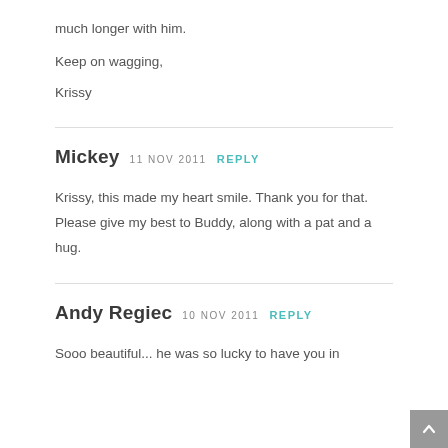much longer with him.
Keep on wagging,
Krissy
Mickey   11 NOV 2011   REPLY
Krissy, this made my heart smile. Thank you for that. Please give my best to Buddy, along with a pat and a hug.
Andy Regiec   10 NOV 2011   REPLY
Sooo beautiful... he was so lucky to have you in